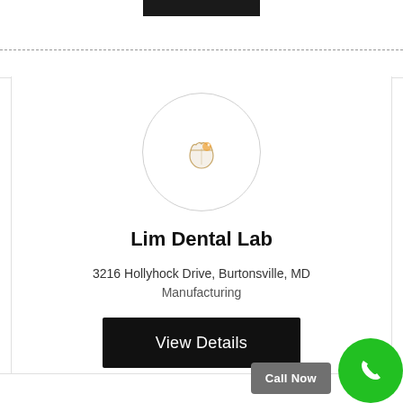[Figure (logo): Dental tooth emoji icon inside a light grey circle, serving as the business logo for Lim Dental Lab]
Lim Dental Lab
3216 Hollyhock Drive, Burtonsville, MD
Manufacturing
View Details
Call Now